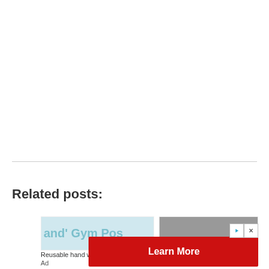Related posts:
[Figure (screenshot): Partially visible card thumbnail with blurred teal/blue text 'and' Gym Pos...']
[Figure (screenshot): Gray placeholder image thumbnail on the right card]
Reusable hand warmer
Ad
[Figure (other): Red 'Learn More' advertisement button with play and close icons]